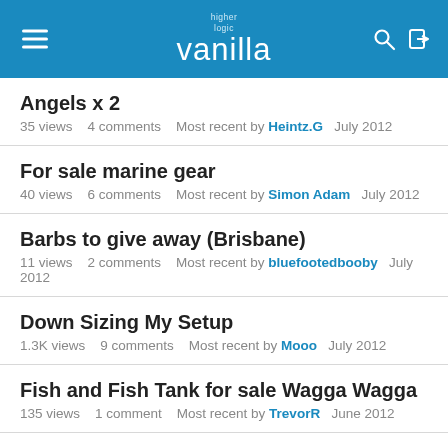higher logic vanilla
Angels x 2
35 views   4 comments   Most recent by Heintz.G   July 2012
For sale marine gear
40 views   6 comments   Most recent by Simon Adam   July 2012
Barbs to give away (Brisbane)
11 views   2 comments   Most recent by bluefootedbooby   July 2012
Down Sizing My Setup
1.3K views   9 comments   Most recent by Mooo   July 2012
Fish and Fish Tank for sale Wagga Wagga
135 views   1 comment   Most recent by TrevorR   June 2012